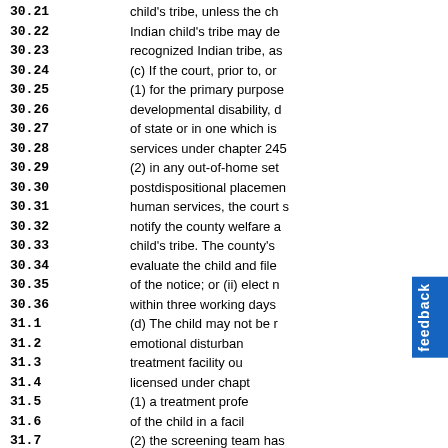30.21
30.22
30.23
30.24
30.25
30.26
30.27
30.28
30.29
30.30
30.31
30.32
30.33
30.34
30.35
30.36
31.1
31.2
31.3
31.4
31.5
31.6
31.7
31.8
child's tribe, unless the ch... Indian child's tribe may de... recognized Indian tribe, as... (c) If the court, prior to, or... (1) for the primary purpose... developmental disability, d... of state or in one which is... services under chapter 245... (2) in any out-of-home set... postdispositional placemen... human services, the court s... notify the county welfare a... child's tribe. The county's ... evaluate the child and file ... of the notice; or (ii) elect n... within three working days... (d) The child may not be r... emotional disturban... treatment facility ou... licensed under chapt... (1) a treatment profe... of the child in a facil... (2) the screening team has...